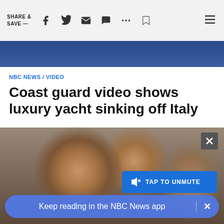SHARE & SAVE —
[Figure (screenshot): Blue banner image at the top of the article, showing a blurred coastal or water scene]
NBC NEWS / VIDEO
Coast guard video shows luxury yacht sinking off Italy
[Figure (photo): Blurred video thumbnail showing animal or person faces close up, with a 'TAP TO UNMUTE' button overlay and an X close button]
Keep reading in the NBC News app